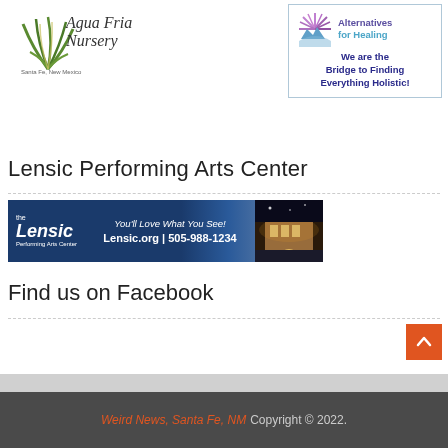[Figure (logo): Agua Fria Nursery logo with agave plant illustration, text: Agua Fria Nursery, Santa Fe, New Mexico, family owned and operated since 1978]
[Figure (infographic): Alternatives for Healing advertisement box: logo with sunburst, text: Alternatives for Healing, We are the Bridge to Finding Everything Holistic!]
Lensic Performing Arts Center
[Figure (infographic): The Lensic Performing Arts Center banner ad: You'll Love What You See! Lensic.org | 505-988-1234]
Find us on Facebook
Weird News, Santa Fe, NM Copyright © 2022.